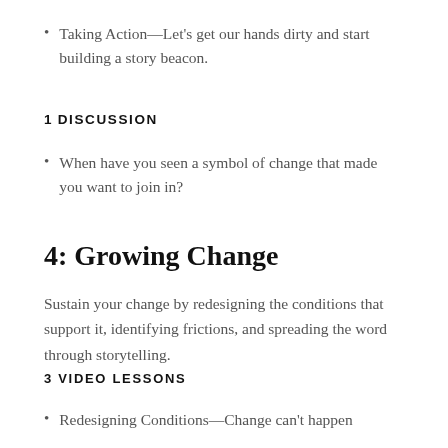Taking Action—Let's get our hands dirty and start building a story beacon.
1 DISCUSSION
When have you seen a symbol of change that made you want to join in?
4: Growing Change
Sustain your change by redesigning the conditions that support it, identifying frictions, and spreading the word through storytelling.
3 VIDEO LESSONS
Redesigning Conditions—Change can't happen